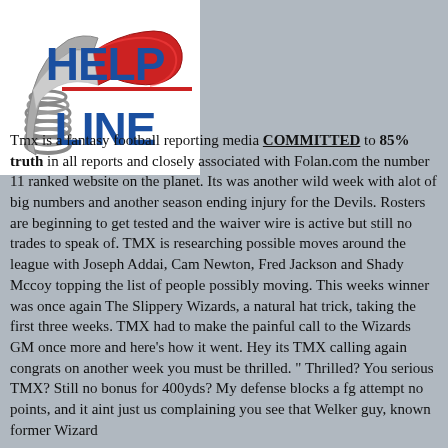[Figure (logo): Help Line logo with a telephone handset graphic (red top, grey cord) and the words HELP LINE in large bold blue letters with a red horizontal rule between HELP and LINE on a white background.]
Tmx is a fantasy football reporting media COMMITTED to 85% truth in all reports and closely associated with Folan.com the number 11 ranked website on the planet. Its was another wild week with alot of big numbers and another season ending injury for the Devils. Rosters are beginning to get tested and the waiver wire is active but still no trades to speak of. TMX is researching possible moves around the league with Joseph Addai, Cam Newton, Fred Jackson and Shady Mccoy topping the list of people possibly moving. This weeks winner was once again The Slippery Wizards, a natural hat trick, taking the first three weeks. TMX had to make the painful call to the Wizards GM once more and here's how it went. Hey its TMX calling again congrats on another week you must be thrilled. " Thrilled? You serious TMX? Still no bonus for 400yds? My defense blocks a fg attempt no points, and it aint just us complaining you see that Welker guy, known former Wizard